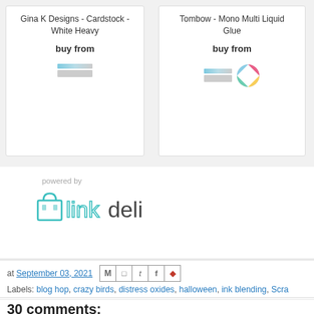Gina K Designs - Cardstock - White Heavy
buy from
Tombow - Mono Multi Liquid Glue
buy from
powered by
[Figure (logo): linkdeli logo with shopping bag icon and teal/dark text]
at September 03, 2021
Labels: blog hop, crazy birds, distress oxides, halloween, ink blending, Scra
30 comments:
Lindsey September 3, 2021 at 3:28 PM
I do love me a few crazy birds! They are so fun here - and yo
Reply